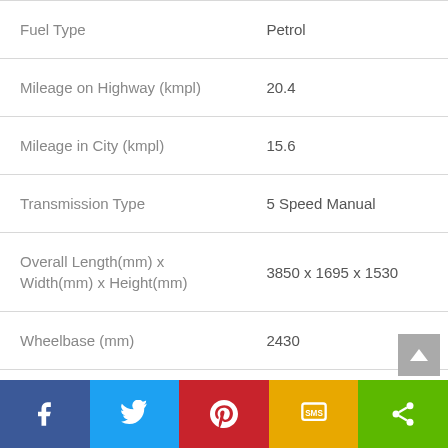| Specification | Value |
| --- | --- |
| Fuel Type | Petrol |
| Mileage on Highway (kmpl) | 20.4 |
| Mileage in City (kmpl) | 15.6 |
| Transmission Type | 5 Speed Manual |
| Overall Length(mm) x Width(mm) x Height(mm) | 3850 x 1695 x 1530 |
| Wheelbase (mm) | 2430 |
| Ground Clearance (mm) | 170 |